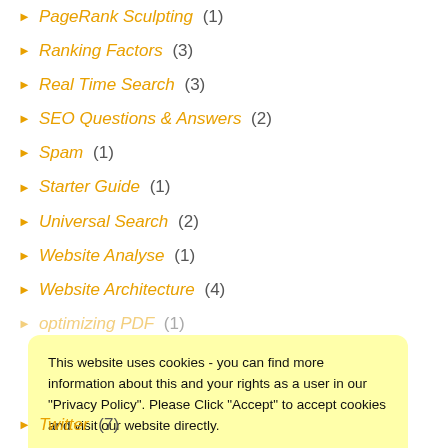PageRank Sculpting (1)
Ranking Factors (3)
Real Time Search (3)
SEO Questions & Answers (2)
Spam (1)
Starter Guide (1)
Universal Search (2)
Website Analyse (1)
Website Architecture (4)
optimizing PDF (1)
This website uses cookies - you can find more information about this and your rights as a user in our "Privacy Policy". Please Click "Accept" to accept cookies and visit our website directly.
Twitter (7)